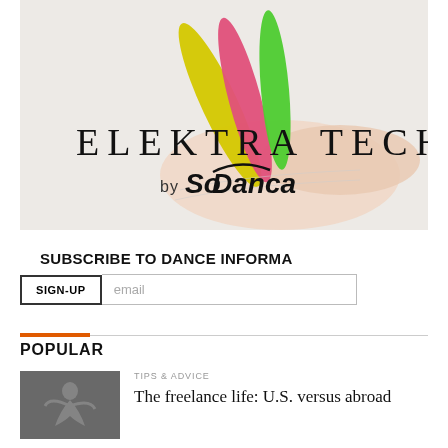[Figure (photo): Advertisement for Elektra Tech by SoDanca — dance shoes (pointe shoes) with colorful tech insoles in yellow, pink, and green. Large text reads 'ELEKTRA TECH by SoDanca'.]
SUBSCRIBE TO DANCE INFORMA
SIGN-UP | email
POPULAR
[Figure (photo): Thumbnail photo of a dancer bending backward dramatically, in a studio or stage setting.]
TIPS & ADVICE
The freelance life: U.S. versus abroad